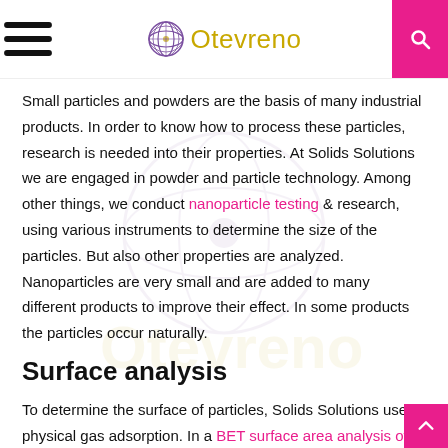Otevreno
Small particles and powders are the basis of many industrial products. In order to know how to process these particles, research is needed into their properties. At Solids Solutions we are engaged in powder and particle technology. Among other things, we conduct nanoparticle testing & research, using various instruments to determine the size of the particles. But also other properties are analyzed. Nanoparticles are very small and are added to many different products to improve their effect. In some products the particles occur naturally.
Surface analysis
To determine the surface of particles, Solids Solutions uses physical gas adsorption. In a BET surface area analysis of nanoparticles, gas is adsorbed on the surface of the